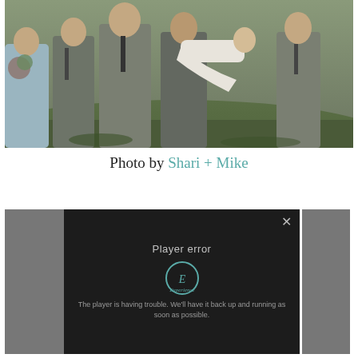[Figure (photo): Outdoor wedding party photo showing bridesmaids in light blue dresses and groomsmen in grey suits on a grassy hillside. One groomsman is carrying the bride over his shoulder while she holds a bouquet.]
Photo by Shari + Mike
[Figure (screenshot): Video player error screen with dark background showing 'Player error' text, an Experience logo/icon, and the message 'The player is having trouble. We'll have it back up and running as soon as possible.' A close (x) button is in the top right corner. Grey bars flank both sides of the player.]